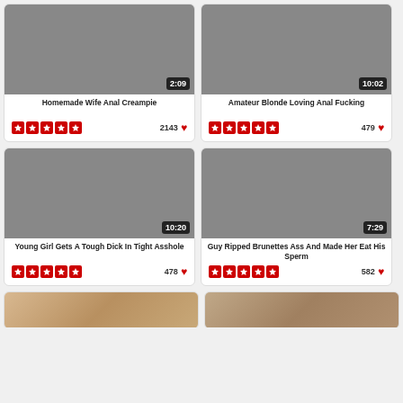[Figure (photo): Video thumbnail 1 - Homemade Wife Anal Creampie, duration 2:09]
Homemade Wife Anal Creampie
2143 ♥ ★★★★★
[Figure (photo): Video thumbnail 2 - Amateur Blonde Loving Anal Fucking, duration 10:02]
Amateur Blonde Loving Anal Fucking
479 ♥ ★★★★★
[Figure (photo): Video thumbnail 3 - Young Girl Gets A Tough Dick In Tight Asshole, duration 10:20]
Young Girl Gets A Tough Dick In Tight Asshole
478 ♥ ★★★★★
[Figure (photo): Video thumbnail 4 - Guy Ripped Brunettes Ass And Made Her Eat His Sperm, duration 7:29]
Guy Ripped Brunettes Ass And Made Her Eat His Sperm
582 ♥ ★★★★★
[Figure (photo): Video thumbnail 5 - partial, bottom row left]
[Figure (photo): Video thumbnail 6 - partial, bottom row right]